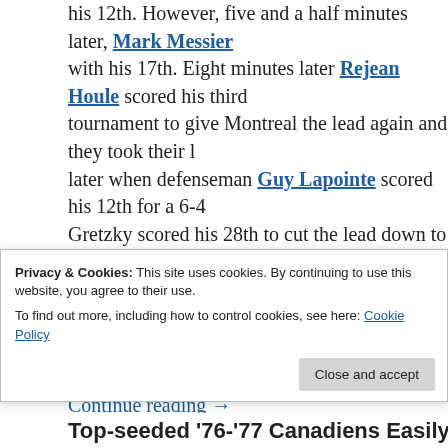his 12th. However, five and a half minutes later, Mark Messier with his 17th. Eight minutes later Rejean Houle scored his third tournament to give Montreal the lead again and they took their lead later when defenseman Guy Lapointe scored his 12th for a 6-4 Gretzky scored his 28th to cut the lead down to one for Edmonton minutes left. However, Ken Dryden, who did not have a good game were able to keep the Oilers at bay to hold on for a 6-5 win and
Continue reading →
Privacy & Cookies: This site uses cookies. By continuing to use this website, you agree to their use.
To find out more, including how to control cookies, see here: Cookie Policy
Close and accept
Top-seeded '76-'77 Canadiens Easily Tak